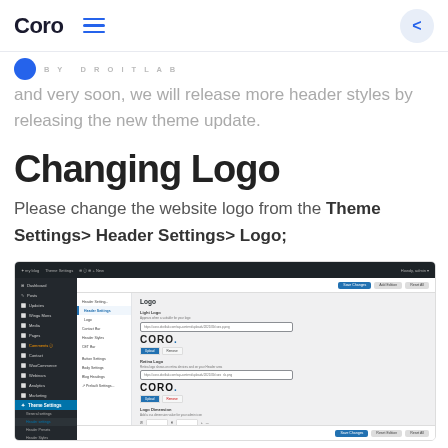Coro
and very soon, we will release more header styles by releasing the new theme update.
Changing Logo
Please change the website logo from the Theme Settings > Header Settings > Logo;
[Figure (screenshot): WordPress admin panel screenshot showing Theme Settings > Header Settings > Logo configuration area with logo upload fields and CORO logo previews]
Theme Settings UI | Logo Changing Area